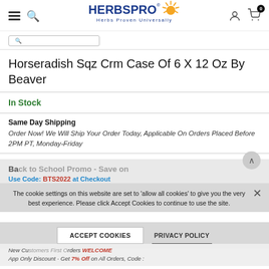HerbsPro - Herbs Proven Universally
Horseradish Sqz Crm Case Of 6 X 12 Oz By Beaver
In Stock
Same Day Shipping
Order Now! We Will Ship Your Order Today, Applicable On Orders Placed Before 2PM PT, Monday-Friday
The cookie settings on this website are set to 'allow all cookies' to give you the very best experience. Please click Accept Cookies to continue to use the site.
ACCEPT COOKIES   PRIVACY POLICY
New Customers First Orders WELCOME App Only Discount - Get 7% Off on All Orders, Code :
Use Code: BTS2022 at Checkout